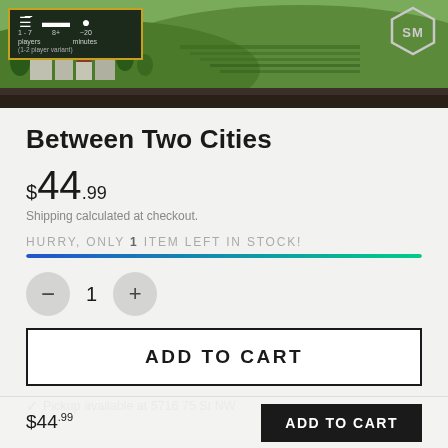[Figure (photo): Hero banner image showing a scenic vineyard/village landscape with a game info box in top-left corner (1-7 players, 8+ age, ~20 minutes) with gold border, and a hexagonal SM logo in the top-right corner.]
Between Two Cities
$44.99
Shipping calculated at checkout.
HURRY, ONLY 1 ITEM LEFT IN STOCK!
ADD TO CART
Pickup available at 5716 75 St NW
$44.99  ADD TO CART